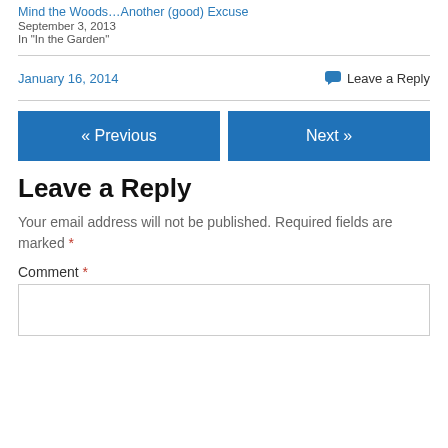Mind the Woods…Another (good) Excuse
September 3, 2013
In "In the Garden"
January 16, 2014
Leave a Reply
« Previous
Next »
Leave a Reply
Your email address will not be published. Required fields are marked *
Comment *